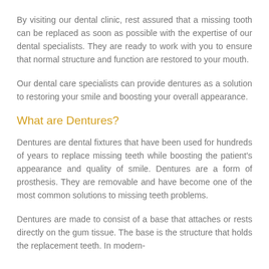By visiting our dental clinic, rest assured that a missing tooth can be replaced as soon as possible with the expertise of our dental specialists. They are ready to work with you to ensure that normal structure and function are restored to your mouth.
Our dental care specialists can provide dentures as a solution to restoring your smile and boosting your overall appearance.
What are Dentures?
Dentures are dental fixtures that have been used for hundreds of years to replace missing teeth while boosting the patient's appearance and quality of smile. Dentures are a form of prosthesis. They are removable and have become one of the most common solutions to missing teeth problems.
Dentures are made to consist of a base that attaches or rests directly on the gum tissue. The base is the structure that holds the replacement teeth. In modern-